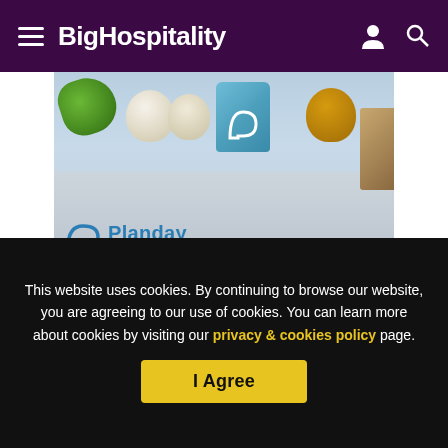BigHospitality
[Figure (photo): Promotional image for Planday from Xero showing vegetables (greens, garlic, onion), a blue jar with a logo, and a wooden board on a grey surface. Planday from Xero logo visible in bottom-left of image.]
Step one: Be prepared
Before going onto the market check your lease for any obligations or constraints the lease places upon you in
This website uses cookies. By continuing to browse our website, you are agreeing to our use of cookies. You can learn more about cookies by visiting our privacy & cookies policy page.
I Agree